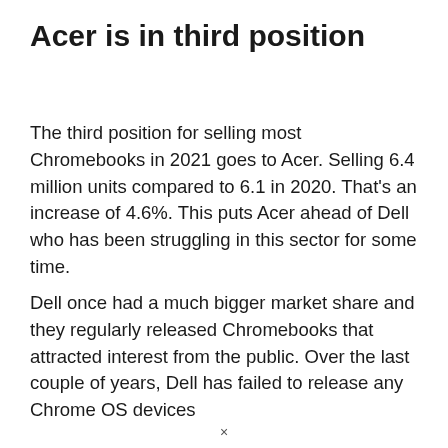Acer is in third position
The third position for selling most Chromebooks in 2021 goes to Acer. Selling 6.4 million units compared to 6.1 in 2020. That’s an increase of 4.6%. This puts Acer ahead of Dell who has been struggling in this sector for some time.
Dell once had a much bigger market share and they regularly released Chromebooks that attracted interest from the public. Over the last couple of years, Dell has failed to release any Chrome OS devices